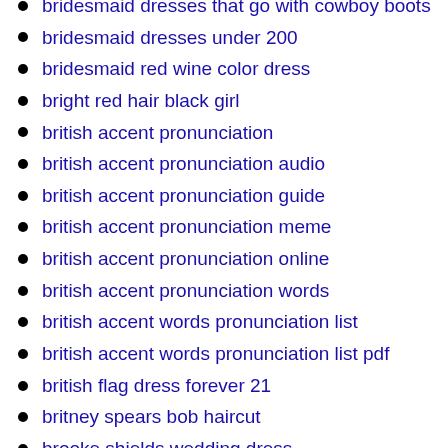bridesmaid dresses that go with cowboy boots
bridesmaid dresses under 200
bridesmaid red wine color dress
bright red hair black girl
british accent pronunciation
british accent pronunciation audio
british accent pronunciation guide
british accent pronunciation meme
british accent pronunciation online
british accent pronunciation words
british accent words pronunciation list
british accent words pronunciation list pdf
british flag dress forever 21
britney spears bob haircut
brooke shields wedding dress